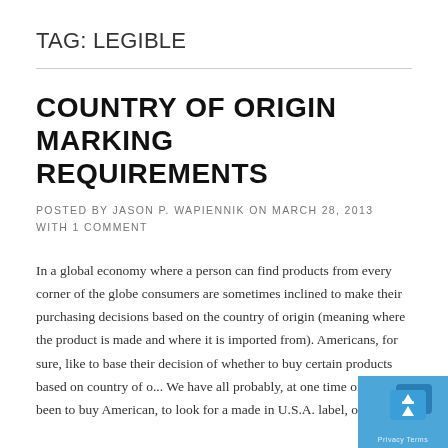TAG: LEGIBLE
COUNTRY OF ORIGIN MARKING REQUIREMENTS
POSTED BY JASON P. WAPIENNIK ON MARCH 28, 2013 WITH 1 COMMENT
In a global economy where a person can find products from every corner of the globe consumers are sometimes inclined to make their purchasing decisions based on the country of origin (meaning where the product is made and where it is imported from). Americans, for sure, like to base their decision of whether to buy certain products based on country of o... We have all probably, at one time or another, been to buy American, to look for a made in U.S.A. label, or not to